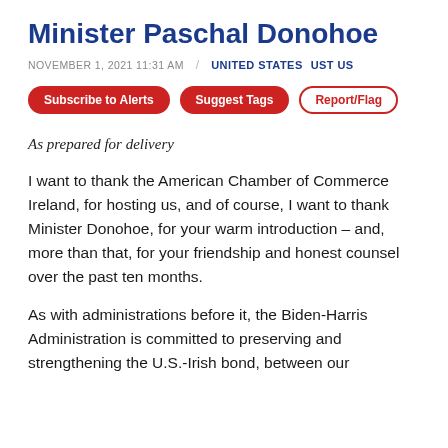Minister Paschal Donohoe
NOVEMBER 1, 2021 11:31 AM / UNITED STATES   UST US
Subscribe to Alerts
Suggest Tags
Report/Flag
As prepared for delivery
I want to thank the American Chamber of Commerce Ireland, for hosting us, and of course, I want to thank Minister Donohoe, for your warm introduction – and, more than that, for your friendship and honest counsel over the past ten months.
As with administrations before it, the Biden-Harris Administration is committed to preserving and strengthening the U.S.-Irish bond, between our governments and between our people.